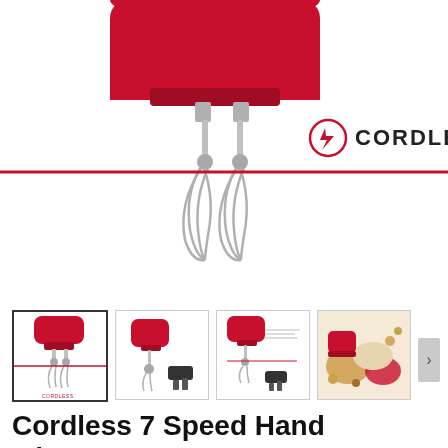[Figure (photo): Red KitchenAid cordless hand mixer with stainless steel whisk beaters. The mixer body is bright red, shown from below. A horizontal red line crosses the image. Text label 'CORDLESS' with a charging icon appears to the right.]
[Figure (photo): Thumbnail row showing four images: 1) Red hand mixer with beaters and red line/CORDLESS branding (selected/active), 2) Red hand mixer with one beater and black charger/accessories, 3) Red hand mixer with beater and charger with text overlay, 4) Lifestyle photo with red KitchenAid appliance and food items.]
Cordless 7 Speed Hand Mixer